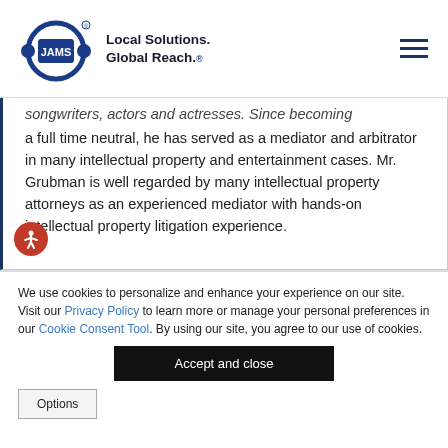JAMS — Local Solutions. Global Reach.
songwriters, actors and actresses. Since becoming a full time neutral, he has served as a mediator and arbitrator in many intellectual property and entertainment cases. Mr. Grubman is well regarded by many intellectual property attorneys as an experienced mediator with hands-on intellectual property litigation experience.
We use cookies to personalize and enhance your experience on our site. Visit our Privacy Policy to learn more or manage your personal preferences in our Cookie Consent Tool. By using our site, you agree to our use of cookies.
Accept and close
Options